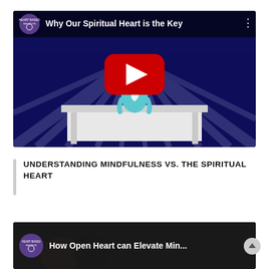[Figure (screenshot): YouTube video thumbnail showing 'Why Our Spiritual Heart is the Key' from Heart Based Institute channel. Dark blue background with light rays, animated figure at podium, YouTube play button overlay.]
UNDERSTANDING MINDFULNESS VS. THE SPIRITUAL HEART
[Figure (screenshot): YouTube video thumbnail showing 'How Open Heart can Elevate Min...' from Heart Based Institute channel.]